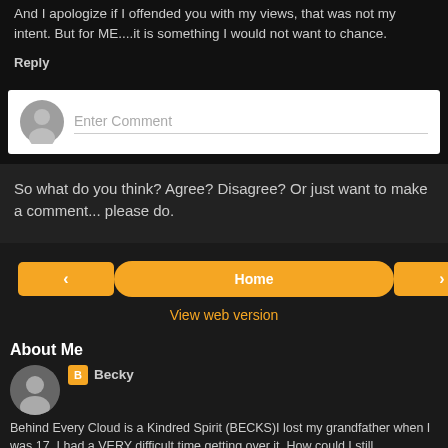And I apologize if I offended you with my views, that was not my intent. But for ME....it is something I would not want to chance.
Reply
[Figure (screenshot): Comment input box with avatar placeholder and 'Enter Comment' placeholder text]
So what do you think? Agree? Disagree? Or just want to make a comment... please do.
[Figure (infographic): Navigation bar with left arrow button, Home button, and right arrow button in orange]
View web version
About Me
Becky
Behind Every Cloud is a Kindred Spirit (BECKS)I lost my grandfather when I was 17. I had a VERY difficult time getting over it. How could I still communicate with him? I loved him so much I didn't think I co...